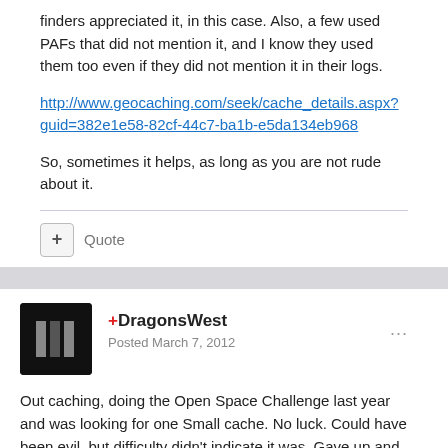finders appreciated it, in this case. Also, a few used PAFs that did not mention it, and I know they used them too even if they did not mention it in their logs.
http://www.geocaching.com/seek/cache_details.aspx?guid=382e1e58-82cf-44c7-ba1b-e5da134eb968
So, sometimes it helps, as long as you are not rude about it.
Quote
+DragonsWest
Posted March 7, 2012
Out caching, doing the Open Space Challenge last year and was looking for one Small cache. No luck. Could have been evil, but difficulty didn't indicate it was. Gave up and moved down the trail … where I found it about 400 feet away, on the open ground. Clearly it had been muggled. I returned it to CO and hid as best as description and hint provided, then sent on ...